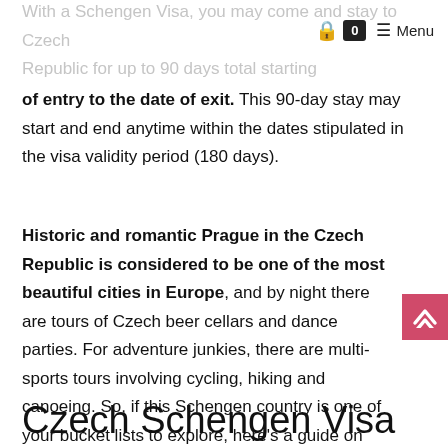🔒 0 ≡ Menu
of entry to the date of exit. This 90-day stay may start and end anytime within the dates stipulated in the visa validity period (180 days).
Historic and romantic Prague in the Czech Republic is considered to be one of the most beautiful cities in Europe, and by night there are tours of Czech beer cellars and dance parties. For adventure junkies, there are multi-sports tours involving cycling, hiking and canoeing. So, if this Schengen country is one of your bucket lists to explore, here's a guide on how to apply for a Schengen Visa to Czech Republic with your Philippine Passport.
Czech Schengen Visa